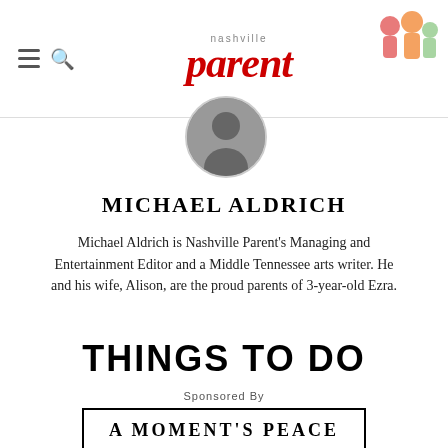nashville parent
[Figure (photo): Circular avatar photo of Michael Aldrich, black and white portrait]
MICHAEL ALDRICH
Michael Aldrich is Nashville Parent's Managing and Entertainment Editor and a Middle Tennessee arts writer. He and his wife, Alison, are the proud parents of 3-year-old Ezra.
THINGS TO DO
Sponsored By
[Figure (logo): A MOMENT'S PEACE sponsor logo box with black border]